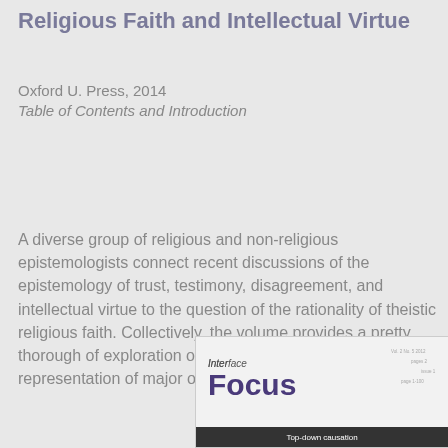Religious Faith and Intellectual Virtue
Oxford U. Press, 2014
Table of Contents and Introduction
A diverse group of religious and non-religious epistemologists connect recent discussions of the epistemology of trust, testimony, disagreement, and intellectual virtue to the question of the rationality of theistic religious faith. Collectively, the volume provides a pretty thorough of exploration of these themes with good representation of major opposed perspectives.
[Figure (screenshot): Thumbnail of the cover/page of the journal 'Interface Focus' showing the journal logo and partial text 'Top-down causation']